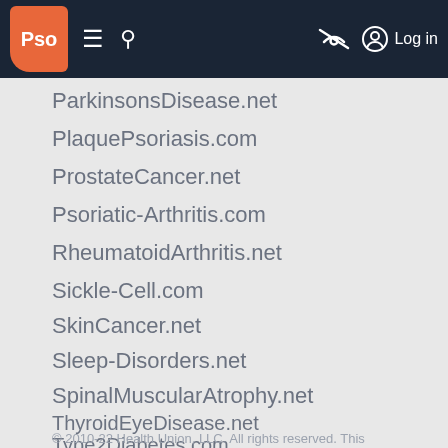Pso [navigation bar with logo, menu, search, hide, log in]
ParkinsonsDisease.net
PlaquePsoriasis.com
ProstateCancer.net
Psoriatic-Arthritis.com
RheumatoidArthritis.net
Sickle-Cell.com
SkinCancer.net
Sleep-Disorders.net
SpinalMuscularAtrophy.net
ThyroidEyeDisease.net
Type2Diabetes.com
© 2010-22 Health Union, LLC. All rights reserved. This